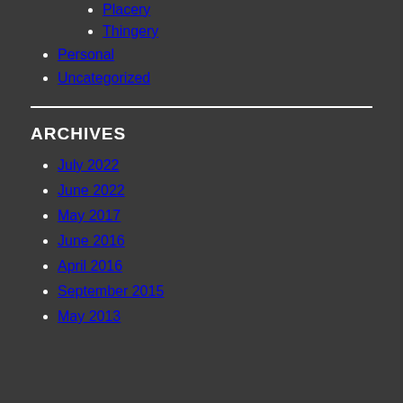Placery
Thingery
Personal
Uncategorized
ARCHIVES
July 2022
June 2022
May 2017
June 2016
April 2016
September 2015
May 2013